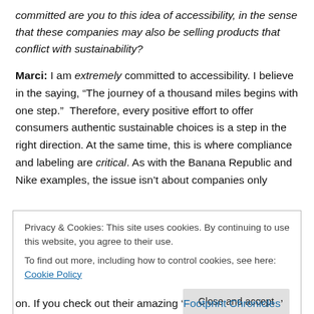committed are you to this idea of accessibility, in the sense that these companies may also be selling products that conflict with sustainability?
Marci: I am extremely committed to accessibility. I believe in the saying, “The journey of a thousand miles begins with one step.”  Therefore, every positive effort to offer consumers authentic sustainable choices is a step in the right direction. At the same time, this is where compliance and labeling are critical. As with the Banana Republic and Nike examples, the issue isn’t about companies only
Privacy & Cookies: This site uses cookies. By continuing to use this website, you agree to their use.
To find out more, including how to control cookies, see here: Cookie Policy
Close and accept
on. If you check out their amazing ‘Footprint Chronicles’